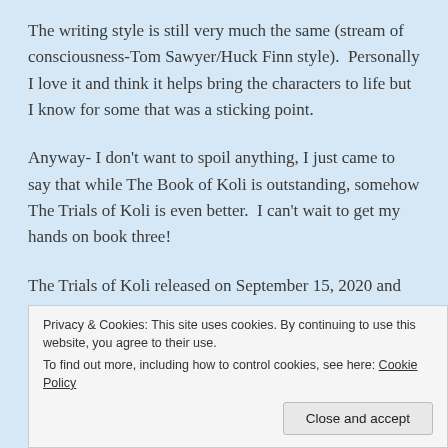The writing style is still very much the same (stream of consciousness-Tom Sawyer/Huck Finn style).  Personally I love it and think it helps bring the characters to life but I know for some that was a sticking point.
Anyway- I don't want to spoil anything, I just came to say that while The Book of Koli is outstanding, somehow The Trials of Koli is even better.  I can't wait to get my hands on book three!
The Trials of Koli released on September 15, 2020 and can be found on GoodReads or ordered on Amazon
Privacy & Cookies: This site uses cookies. By continuing to use this website, you agree to their use.
To find out more, including how to control cookies, see here: Cookie Policy
Close and accept